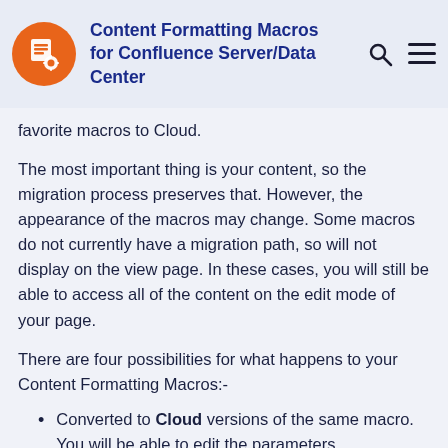Content Formatting Macros for Confluence Server/Data Center
favorite macros to Cloud.
The most important thing is your content, so the migration process preserves that. However, the appearance of the macros may change. Some macros do not currently have a migration path, so will not display on the view page. In these cases, you will still be able to access all of the content on the edit mode of your page.
There are four possibilities for what happens to your Content Formatting Macros:-
Converted to Cloud versions of the same macro. You will be able to edit the parameters